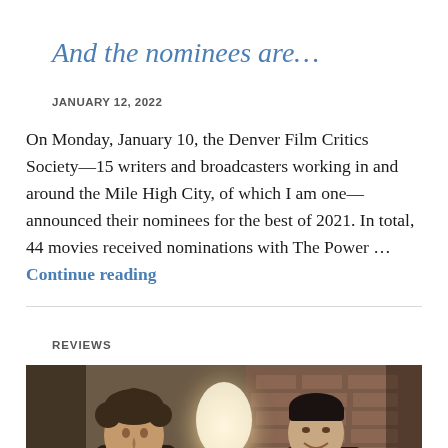And the nominees are…
JANUARY 12, 2022
On Monday, January 10, the Denver Film Critics Society—15 writers and broadcasters working in and around the Mile High City, of which I am one—announced their nominees for the best of 2021. In total, 44 movies received nominations with The Power … Continue reading
REVIEWS
[Figure (photo): Two people facing each other in a dimly lit scene with brick wall background and a bright backlight. One person has curly hair (left), the other (right) is smiling.]